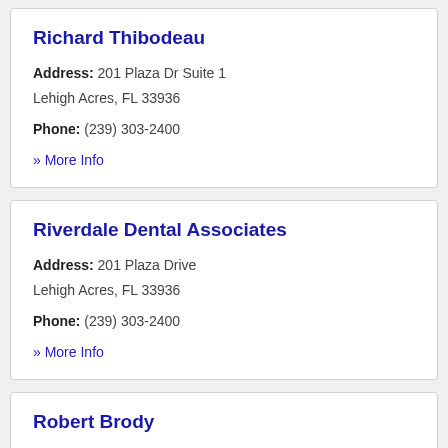Richard Thibodeau
Address: 201 Plaza Dr Suite 1
Lehigh Acres, FL 33936
Phone: (239) 303-2400
» More Info
Riverdale Dental Associates
Address: 201 Plaza Drive
Lehigh Acres, FL 33936
Phone: (239) 303-2400
» More Info
Robert Brody
Address: 2718 Lee Blvd Ste A